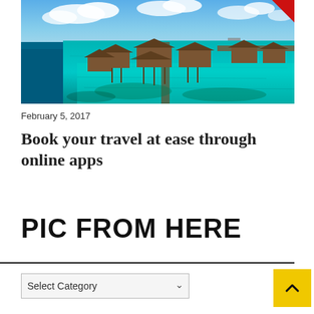[Figure (photo): Aerial view of overwater bungalows on a tropical turquoise lagoon with a pier extending to the right, under a partly cloudy blue sky.]
February 5, 2017
Book your travel at ease through online apps
PIC FROM HERE
Select Category